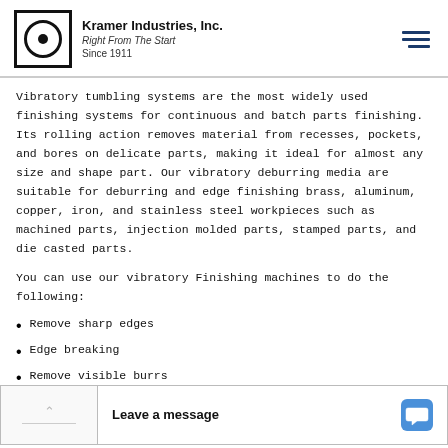Kramer Industries, Inc. | Right From The Start | Since 1911
Vibratory tumbling systems are the most widely used finishing systems for continuous and batch parts finishing. Its rolling action removes material from recesses, pockets, and bores on delicate parts, making it ideal for almost any size and shape part. Our vibratory deburring media are suitable for deburring and edge finishing brass, aluminum, copper, iron, and stainless steel workpieces such as machined parts, injection molded parts, stamped parts, and die casted parts.
You can use our vibratory Finishing machines to do the following:
Remove sharp edges
Edge breaking
Remove visible burrs
Remove projections at a
Edge rounding